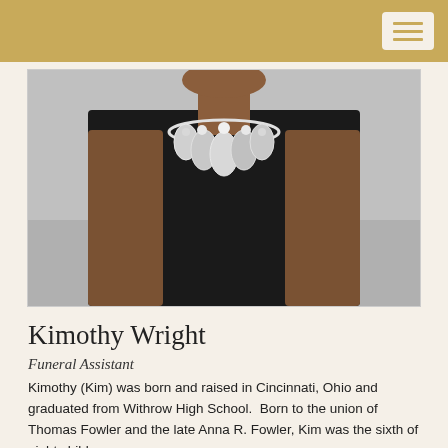[Figure (photo): Portrait photo of Kimothy Wright, a woman wearing a black top and a large silver statement necklace, photographed against a grey background]
Kimothy Wright
Funeral Assistant
Kimothy (Kim) was born and raised in Cincinnati, Ohio and graduated from Withrow High School.  Born to the union of Thomas Fowler and the late Anna R. Fowler, Kim was the sixth of eight children.